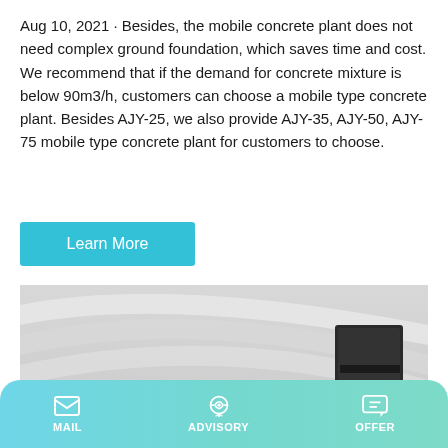Aug 10, 2021 · Besides, the mobile concrete plant does not need complex ground foundation, which saves time and cost. We recommend that if the demand for concrete mixture is below 90m3/h, customers can choose a mobile type concrete plant. Besides AJY-25, we also provide AJY-35, AJY-50, AJY-75 mobile type concrete plant for customers to choose.
Learn More
[Figure (photo): A green TALENET self-loading concrete mixer truck against a modern building background with curved white architecture.]
MAIL   ADVISORY   OFFER